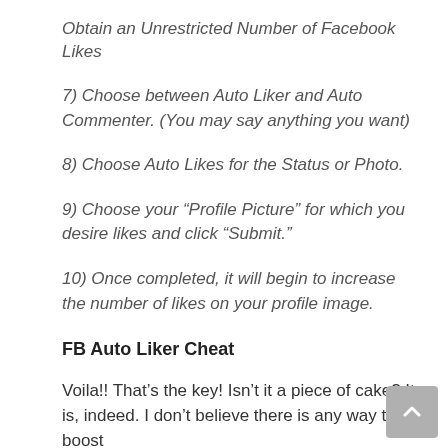Obtain an Unrestricted Number of Facebook Likes
7) Choose between Auto Liker and Auto Commenter. (You may say anything you want)
8) Choose Auto Likes for the Status or Photo.
9) Choose your “Profile Picture” for which you desire likes and click “Submit.”
10) Once completed, it will begin to increase the number of likes on your profile image.
FB Auto Liker Cheat
Voila!! That’s the key! Isn’t it a piece of cake? It is, indeed. I don’t believe there is any way to boost